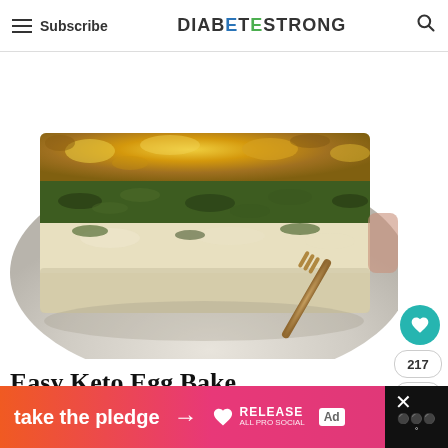Subscribe | DIABETESTRONG
[Figure (photo): A slice of keto egg bake with spinach and melted cheese on top, served on a white plate with a fork beside it]
Easy Keto Egg Bake
[Figure (infographic): Advertisement banner: 'take the pledge' with arrow, RELEASE logo with heart icon, ad icon, and close button on dark background]